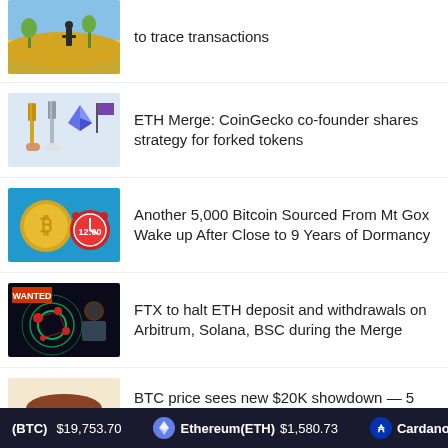to trace transactions
ETH Merge: CoinGecko co-founder shares strategy for forked tokens
Another 5,000 Bitcoin Sourced From Mt Gox Wake up After Close to 9 Years of Dormancy
FTX to halt ETH deposit and withdrawals on Arbitrum, Solana, BSC during the Merge
BTC price sees new $20K showdown — 5 things to know in Bitcoin this week
(BTC) $19,753.70   Ethereum(ETH) $1,580.73   Cardano(ADA